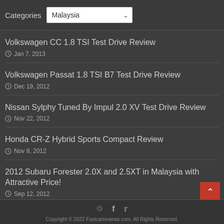Categories  Malaysia
Volkswagen CC 1.8 TSI Test Drive Review
Jan 7, 2013
Volkswagen Passat 1.8 TSI B7 Test Drive Review
Dec 19, 2012
Nissan Sylphy Tuned By Impul 2.0 XV Test Drive Review
Nov 22, 2012
Honda CR-Z Hybrid Sports Compact Review
Nov 8, 2012
2012 Subaru Forester 2.0X and 2.5XT in Malaysia with Attractive Price!
Sep 12, 2012
Copyright © 2022 Fastcarreviews.com. All Rights Reserved.